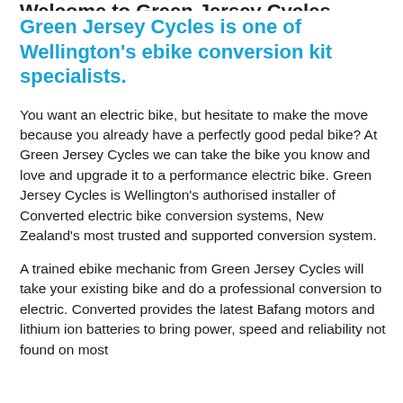Welcome to Green Jersey Cycles
Green Jersey Cycles is one of Wellington's ebike conversion kit specialists.
You want an electric bike, but hesitate to make the move because you already have a perfectly good pedal bike? At Green Jersey Cycles we can take the bike you know and love and upgrade it to a performance electric bike. Green Jersey Cycles is Wellington's authorised installer of Converted electric bike conversion systems, New Zealand's most trusted and supported conversion system.
A trained ebike mechanic from Green Jersey Cycles will take your existing bike and do a professional conversion to electric. Converted provides the latest Bafang motors and lithium ion batteries to bring power, speed and reliability not found on most